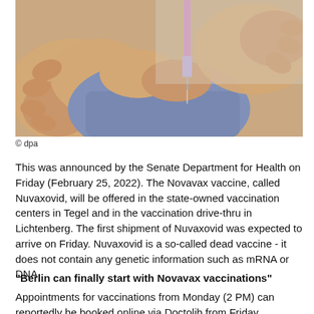[Figure (photo): Close-up photo of hands administering a vaccine injection into a person's upper arm/shoulder area. A syringe with purple plunger is visible being held by one hand while another hand steadies the injection site.]
© dpa
This was announced by the Senate Department for Health on Friday (February 25, 2022). The Novavax vaccine, called Nuvaxovid, will be offered in the state-owned vaccination centers in Tegel and in the vaccination drive-thru in Lichtenberg. The first shipment of Nuvaxovid was expected to arrive on Friday. Nuvaxovid is a so-called dead vaccine - it does not contain any genetic information such as mRNA or DNA.
"Berlin can finally start with Novavax vaccinations"
Appointments for vaccinations from Monday (2 PM) can reportedly be booked online via Doctolib from Friday afternoon. "Finally, Berlin can start with Novavax vaccinations. I am happy about every single